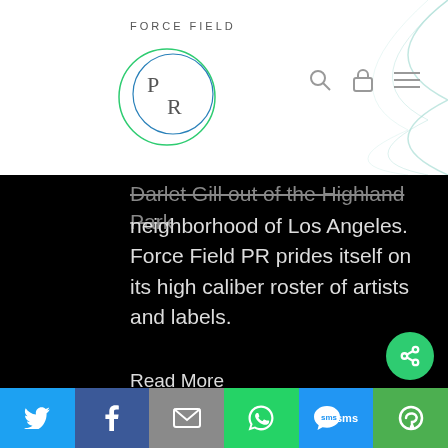[Figure (logo): Force Field PR logo with two overlapping circles and PR letters inside]
..Darlet Gill out of the Highland Park neighborhood of Los Angeles. Force Field PR prides itself on its high caliber roster of artists and labels.
Read More
latest tweet
RT @SlumberlandRecs : Bandcamp Friday is back! Pre-
[Figure (infographic): Bottom share bar with Twitter, Facebook, Email, WhatsApp, SMS, and More buttons]